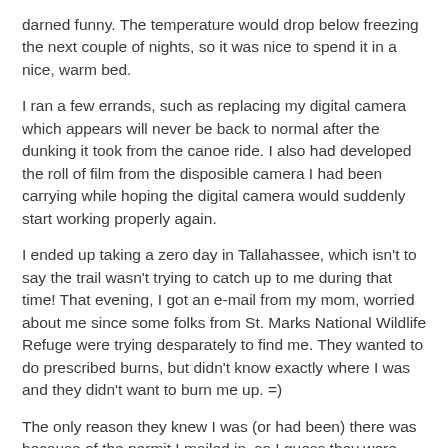darned funny. The temperature would drop below freezing the next couple of nights, so it was nice to spend it in a nice, warm bed.
I ran a few errands, such as replacing my digital camera which appears will never be back to normal after the dunking it took from the canoe ride. I also had developed the roll of film from the disposible camera I had been carrying while hoping the digital camera would suddenly start working properly again.
I ended up taking a zero day in Tallahassee, which isn't to say the trail wasn't trying to catch up to me during that time! That evening, I got an e-mail from my mom, worried about me since some folks from St. Marks National Wildlife Refuge were trying desparately to find me. They wanted to do prescribed burns, but didn't know exactly where I was and they didn't want to burn me up. =)
The only reason they knew I was (or had been) there was because of the permit I mailed in, so I guess they were trying to make sure all hikers were safe.